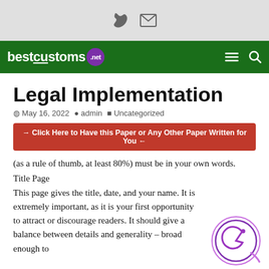📞 ✉ (icons)
bestcustomsnet
Legal Implementation
May 16, 2022  admin  Uncategorized
→ Click Here to Have this Paper or Any Other Paper Written for You ←
(as a rule of thumb, at least 80%) must be in your own words.
Title Page
This page gives the title, date, and your name. It is extremely important, as it is your first opportunity to attract or discourage readers. It should give a balance between details and generality – broad enough to